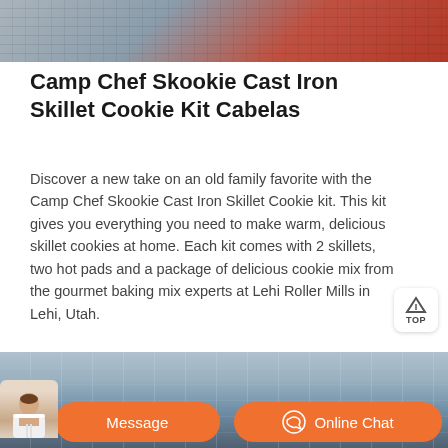[Figure (photo): Partial view of industrial or storage shelving/racking, with red painted metal and grey metal components visible at top of page.]
Camp Chef Skookie Cast Iron Skillet Cookie Kit Cabelas
Discover a new take on an old family favorite with the Camp Chef Skookie Cast Iron Skillet Cookie kit. This kit gives you everything you need to make warm, delicious skillet cookies at home. Each kit comes with 2 skillets, two hot pads and a package of delicious cookie mix from the gourmet baking mix experts at Lehi Roller Mills in Lehi, Utah.
[Figure (photo): Interior of a large industrial warehouse or factory building showing metal roof structure and supports.]
[Figure (photo): Chat interface overlay showing a customer service representative, a Message button, and an Online Chat button with icon.]